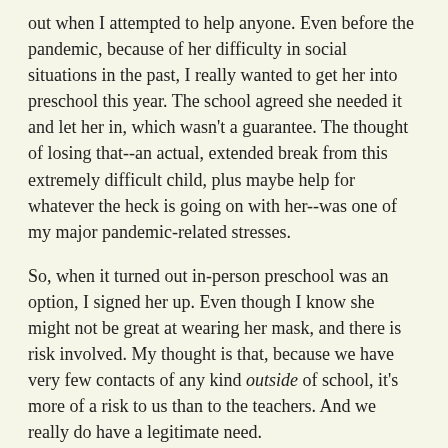out when I attempted to help anyone. Even before the pandemic, because of her difficulty in social situations in the past, I really wanted to get her into preschool this year. The school agreed she needed it and let her in, which wasn't a guarantee. The thought of losing that--an actual, extended break from this extremely difficult child, plus maybe help for whatever the heck is going on with her--was one of my major pandemic-related stresses.
So, when it turned out in-person preschool was an option, I signed her up. Even though I know she might not be great at wearing her mask, and there is risk involved. My thought is that, because we have very few contacts of any kind outside of school, it's more of a risk to us than to the teachers. And we really do have a legitimate need.
I also signed up Miriam, because she did very little work in the spring. She'll do anything for her teachers, but when it's me asking, suddenly she resists. She also has a strong need for social interactions with other kids, since her brothers often exclude her and Jackie is too young. I felt that she could be relied on to wear her mask and follow the rules. And this way she will learn to read this year. I really don't know whether she would if it was just me